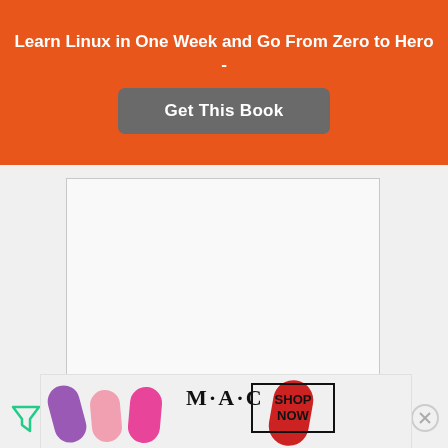Learn Linux in One Week and Go From Zero to Hero -
Get This Book
[Figure (screenshot): Large empty white textarea input box with a resize handle at bottom-right corner]
[Figure (screenshot): Filter/funnel icon (green) on the left side, followed by a text input field with placeholder 'Name *', and a close (X) circle button on the right]
[Figure (screenshot): MAC cosmetics advertisement banner showing lipsticks in purple, pink, and red with text 'M·A·C' and 'SHOP NOW']